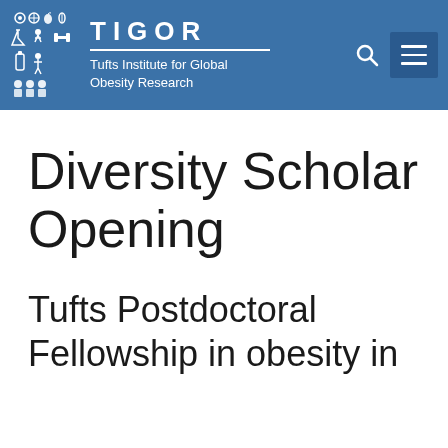TIGOR — Tufts Institute for Global Obesity Research
Diversity Scholar Opening
Tufts Postdoctoral Fellowship in obesity in